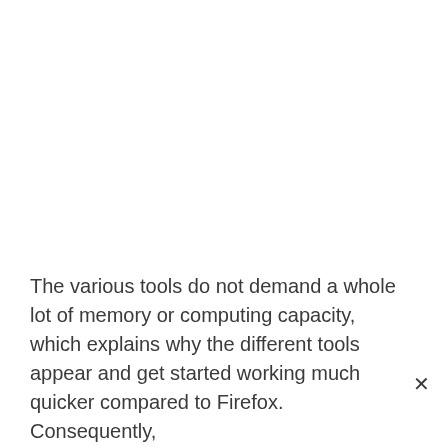The various tools do not demand a whole lot of memory or computing capacity, which explains why the different tools appear and get started working much quicker compared to Firefox. Consequently,